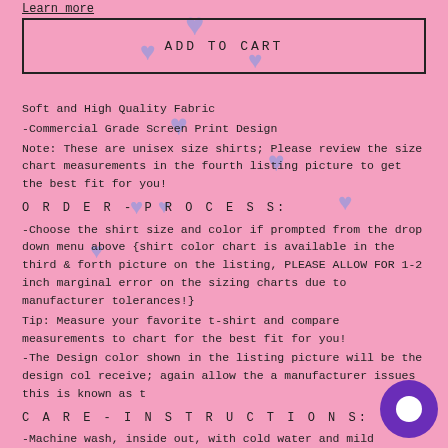Learn more
ADD TO CART
Soft and High Quality Fabric
-Commercial Grade Screen Print Design
Note: These are unisex size shirts; Please review the size chart measurements in the fourth listing picture to get the best fit for you!
O R D E R - P R O C E S S:
-Choose the shirt size and color if prompted from the drop down menu above {shirt color chart is available in the third & forth picture on the listing, PLEASE ALLOW FOR 1-2 inch marginal error on the sizing charts due to manufacturer tolerances!}
Tip: Measure your favorite t-shirt and compare measurements to chart for the best fit for you!
-The Design color shown in the listing picture will be the design color you receive; again allow the a manufacturer issues this is known as t
C A R E - I N S T R U C T I O N S:
-Machine wash, inside out, with cold water and mild detergent.